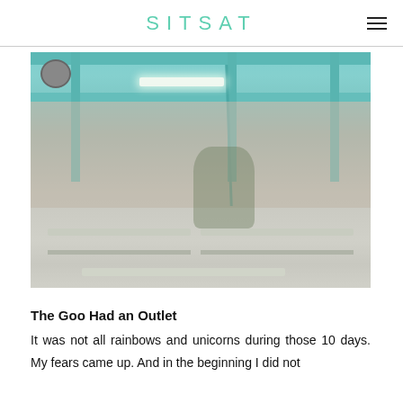SITSAT
[Figure (photo): Interior of an open-air hawker centre or canteen with teal/turquoise metal roof beams, a ceiling fan, fluorescent lighting, long rectangular tables with benches, a tree visible in the background courtyard, and weathered walls.]
The Goo Had an Outlet
It was not all rainbows and unicorns during those 10 days. My fears came up. And in the beginning I did not